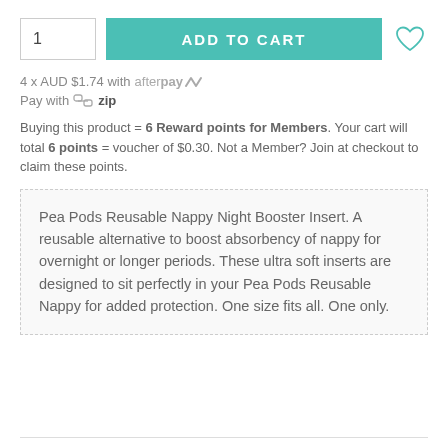1
ADD TO CART
4 x AUD $1.74 with afterpay
Pay with zip
Buying this product = 6 Reward points for Members. Your cart will total 6 points = voucher of $0.30. Not a Member? Join at checkout to claim these points.
Pea Pods Reusable Nappy Night Booster Insert. A reusable alternative to boost absorbency of nappy for overnight or longer periods. These ultra soft inserts are designed to sit perfectly in your Pea Pods Reusable Nappy for added protection. One size fits all. One only.